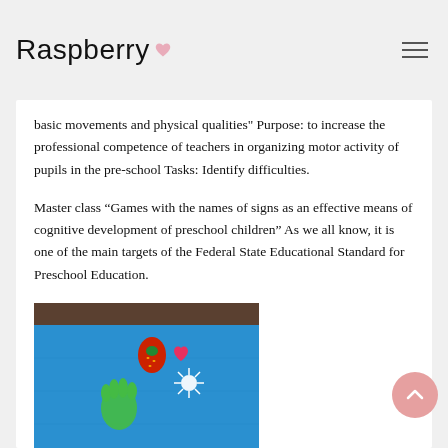Raspberry
basic movements and physical qualities" Purpose: to increase the professional competence of teachers in organizing motor activity of pupils in the pre-school Tasks: Identify difficulties.
Master class “Games with the names of signs as an effective means of cognitive development of preschool children” As we all know, it is one of the main targets of the Federal State Educational Standard for Preschool Education.
[Figure (photo): Photo of blue fabric/mat with colorful applique shapes including strawberry, heart, spider/flower, and green hand shapes on a light blue background]